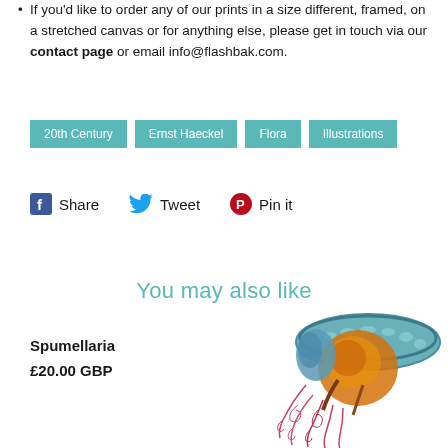If you'd like to order any of our prints in a size different, framed, on a stretched canvas or for anything else, please get in touch via our contact page or email info@flashbak.com.
20th Century  Ernst Haeckel  Flora  Illustrations
Share  Tweet  Pin it
You may also like
Spumellaria
£20.00 GBP
[Figure (illustration): Colorful scientific illustration of a Spumellaria (radiolarian/jellyfish-like organism) with blue rim, orange body, and pink/red tentacles]